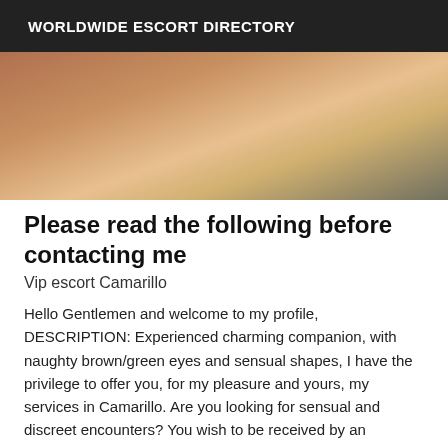WORLDWIDE ESCORT DIRECTORY
[Figure (photo): A close-up photo of a person sitting on a bed, showing lower body in white undergarment against a light background.]
Please read the following before contacting me
Vip escort Camarillo
Hello Gentlemen and welcome to my profile, DESCRIPTION: Experienced charming companion, with naughty brown/green eyes and sensual shapes, I have the privilege to offer you, for my pleasure and yours, my services in Camarillo. Are you looking for sensual and discreet encounters? You wish to be received by an attentive hostess who will listen to you? I come to you with a beautiful proposal ... An invitation to the possible, to the joy. On the program of this festive mix, joyful